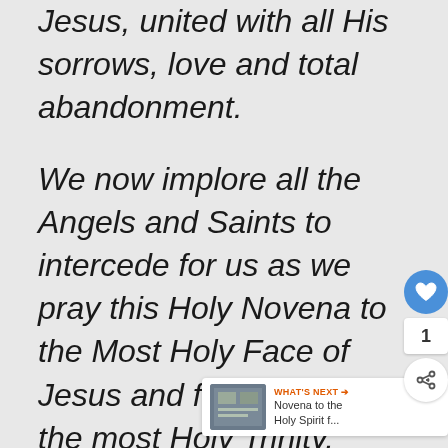Jesus, united with all His sorrows, love and total abandonment.

We now implore all the Angels and Saints to intercede for us as we pray this Holy Novena to the Most Holy Face of Jesus and for the glory of the most Holy Trinity, Father, Son and Holy Spirit. Amen.
[Figure (screenshot): UI overlay with heart/like button (blue circle), count of 1, and share button (white circle with share icon)]
[Figure (infographic): WHAT'S NEXT banner with thumbnail image and text 'Novena to the Holy Spirit f...']